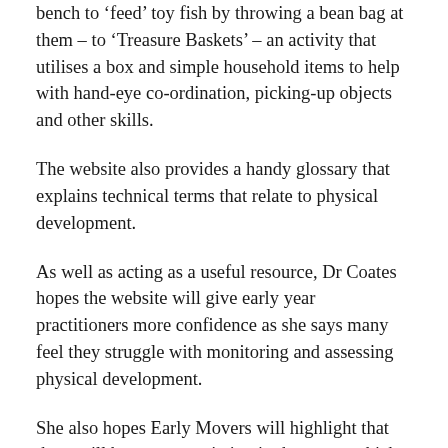bench to ‘feed’ toy fish by throwing a bean bag at them – to ‘Treasure Baskets’ – an activity that utilises a box and simple household items to help with hand-eye co-ordination, picking-up objects and other skills.
The website also provides a handy glossary that explains technical terms that relate to physical development.
As well as acting as a useful resource, Dr Coates hopes the website will give early year practitioners more confidence as she says many feel they struggle with monitoring and assessing physical development.
She also hopes Early Movers will highlight that there will be a great variation in the age at which children acquire the same skills so parents shouldn’t be disheartened if their children are not able to perform the same skills as their peers straight away.
Of the website’s importance, Dr Coates said: “When we started